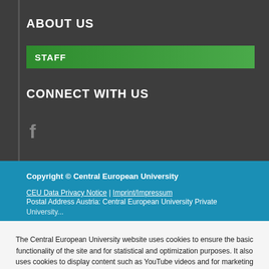ABOUT US
STAFF
CONNECT WITH US
[Figure (logo): Facebook icon (grey/white stylised lowercase f)]
Copyright © Central European University
CEU Data Privacy Notice | Imprint/Impressum
Postal Address Austria: Central European University Private University, Quellenstraße 51a, 1100 Wien, Austria | H...
The Central European University website uses cookies to ensure the basic functionality of the site and for statistical and optimization purposes. It also uses cookies to display content such as YouTube videos and for marketing purposes. Learn